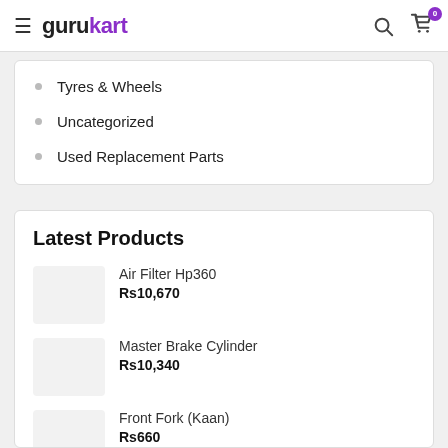gurukart
Tyres & Wheels
Uncategorized
Used Replacement Parts
Latest Products
Air Filter Hp360
Rs10,670
Master Brake Cylinder
Rs10,340
Front Fork (Kaan)
Rs660